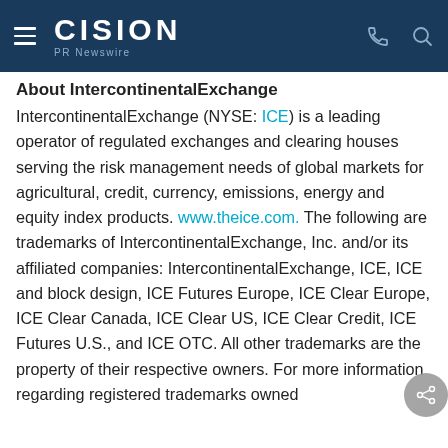CISION PR Newswire
About IntercontinentalExchange
IntercontinentalExchange (NYSE: ICE) is a leading operator of regulated exchanges and clearing houses serving the risk management needs of global markets for agricultural, credit, currency, emissions, energy and equity index products. www.theice.com. The following are trademarks of IntercontinentalExchange, Inc. and/or its affiliated companies: IntercontinentalExchange, ICE, ICE and block design, ICE Futures Europe, ICE Clear Europe, ICE Clear Canada, ICE Clear US, ICE Clear Credit, ICE Futures U.S., and ICE OTC. All other trademarks are the property of their respective owners. For more information regarding registered trademarks owned